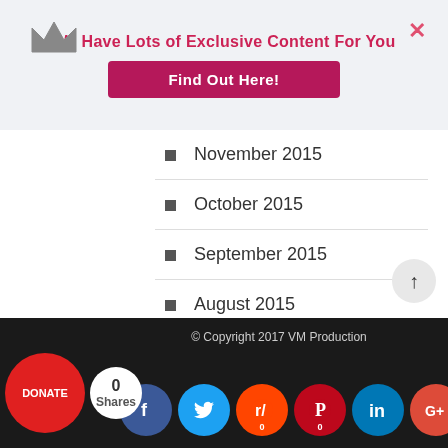[Figure (other): Promotional banner with crown icon, close button, text 'We Have Lots of Exclusive Content For You' and a pink 'Find Out Here!' button]
November 2015
October 2015
September 2015
August 2015
July 2015
June 2015
May 2015
April 2015
January 2015
© Copyright 2017 VM Production